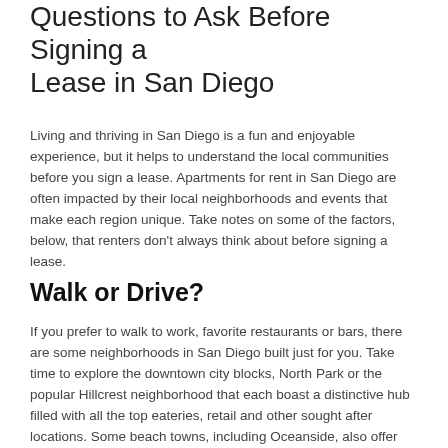Questions to Ask Before Signing a Lease in San Diego
Living and thriving in San Diego is a fun and enjoyable experience, but it helps to understand the local communities before you sign a lease. Apartments for rent in San Diego are often impacted by their local neighborhoods and events that make each region unique. Take notes on some of the factors, below, that renters don't always think about before signing a lease.
Walk or Drive?
If you prefer to walk to work, favorite restaurants or bars, there are some neighborhoods in San Diego built just for you. Take time to explore the downtown city blocks, North Park or the popular Hillcrest neighborhood that each boast a distinctive hub filled with all the top eateries, retail and other sought after locations. Some beach towns, including Oceanside, also offer their own positives, filled with countless activities to fill your day.
Sand and Surf
Finding apartments for rent along the San Diego shore is a top